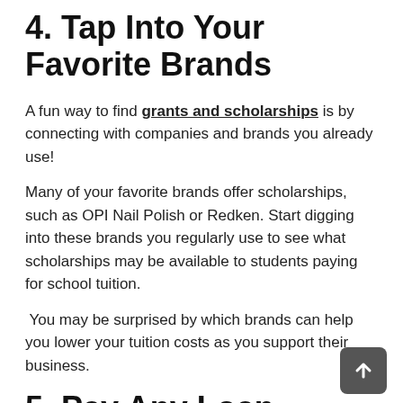4. Tap Into Your Favorite Brands
A fun way to find grants and scholarships is by connecting with companies and brands you already use!
Many of your favorite brands offer scholarships, such as OPI Nail Polish or Redken. Start digging into these brands you regularly use to see what scholarships may be available to students paying for school tuition.
You may be surprised by which brands can help you lower your tuition costs as you support their business.
5. Pay Any Loan Interest Early
If you need to take out a small student loan after applying your scholarships and grants to your tuition, consider